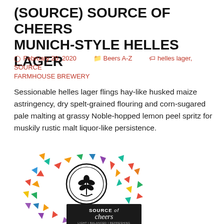(SOURCE) SOURCE OF CHEERS MUNICH-STYLE HELLES LAGER
February 20, 2020   Beers A-Z   helles lager, SOURCE FARMHOUSE BREWERY
Sessionable helles lager flings hay-like husked maize astringency, dry spelt-grained flouring and corn-sugared pale malting at grassy Noble-hopped lemon peel spritz for muskily rustic malt liquor-like persistence.
[Figure (illustration): Colorful pennant/banner flags arranged in a circular spiral pattern around a central circular logo with a wheat/hop illustration inside. Below the circle is a dark label reading 'SOURCE of cheers' with 'LIGHT | BALANCED | REFRESHING (FLAVOR FROM HOPS)' in smaller text.]